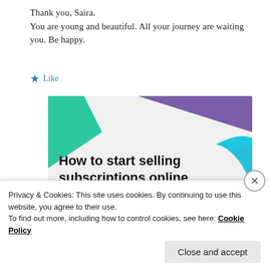Thank you, Saira.
You are young and beautiful. All your journey are waiting you. Be happy.
★ Like
[Figure (illustration): Advertisement banner for 'How to start selling subscriptions online' with colorful geometric shapes (teal triangle, purple triangle, blue curved shape) on a light gray background with bold black text and a purple call-to-action button.]
Privacy & Cookies: This site uses cookies. By continuing to use this website, you agree to their use.
To find out more, including how to control cookies, see here: Cookie Policy
Close and accept